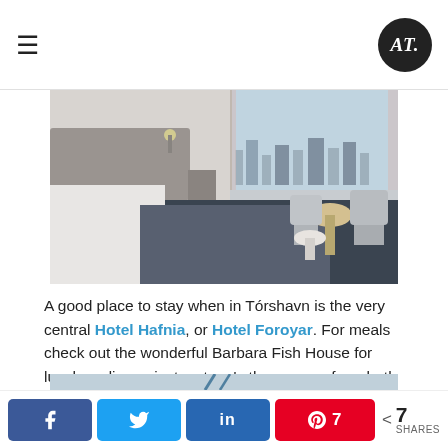≡  AT logo
[Figure (photo): Hotel room interior with two single beds with grey bedspreads, grey upholstered headboard, modern chairs and a round table, city view through large windows]
A good place to stay when in Tórshavn is the very central Hotel Hafnia, or Hotel Foroyar. For meals check out the wonderful Barbara Fish House for lunch or dinner, just a stone's throw away from both hotels and just fabulous.
[Figure (photo): Close-up photo of boat rigging or dock lines against light background]
Facebook share button, Twitter share button, LinkedIn share button, Pinterest share button with 7 saves, < 7 SHARES